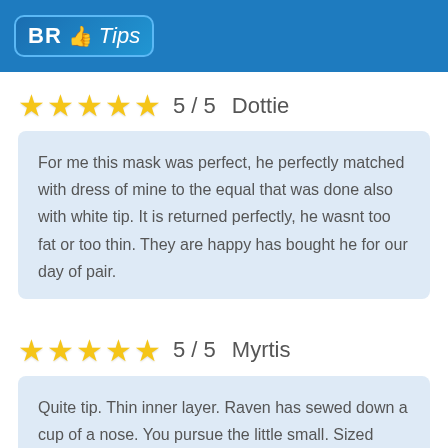[Figure (logo): BR Tips logo with thumbs-up icon on blue header bar]
★★★★★  5 / 5   Dottie
For me this mask was perfect, he perfectly matched with dress of mine to the equal that was done also with white tip. It is returned perfectly, he wasnt too fat or too thin. They are happy has bought he for our day of pair.
★★★★★  5 / 5   Myrtis
Quite tip. Thin inner layer. Raven has sewed down a cup of a nose. You pursue the little small. Sized